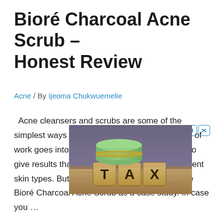Bioré Charcoal Acne Scrub – Honest Review
Acne / By Ijeoma Chukwuemelie
Acne cleansers and scrubs are some of the simplest ways of treating acne these days. A lot of work goes into combining different ingredients to give results that would be compatible with different skin types. But are they all effective? Let us use Bioré Charcoal Acne Scrub as a case study. In case you …
[Figure (photo): Advertisement image showing wooden blocks spelling TAX with rolled dollar bills on top, placed on a wooden surface.]